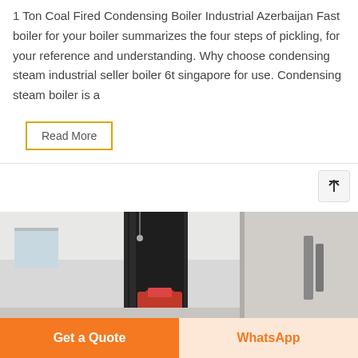1 Ton Coal Fired Condensing Boiler Industrial Azerbaijan Fast boiler for your boiler summarizes the four steps of pickling, for your reference and understanding. Why choose condensing steam industrial seller boiler 6t singapore for use. Condensing steam boiler is a
Read More
[Figure (screenshot): Scroll to top button with upward arrow icon]
[Figure (photo): Industrial boiler room interior with large black cylindrical boiler and red equipment]
Get a Quote
WhatsApp